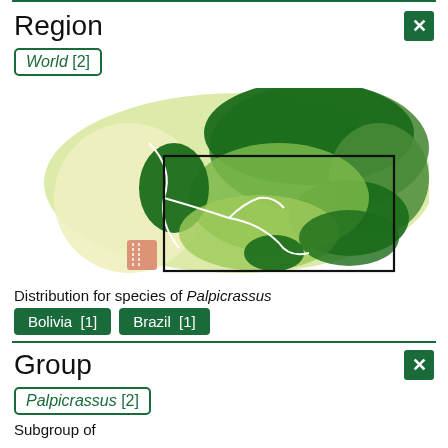Region
World [2]
[Figure (map): Distribution map showing geographic range of Palpicrassus species in South America. Green shaded regions indicate species distribution across Bolivia and Brazil, with a black rectangle highlighting a zoomed region. White boundary lines visible, small salmon/orange area at bottom.]
Distribution for species of Palpicrassus
Bolivia [1]   Brazil [1]
Group
Palpicrassus [2]
Subgroup of